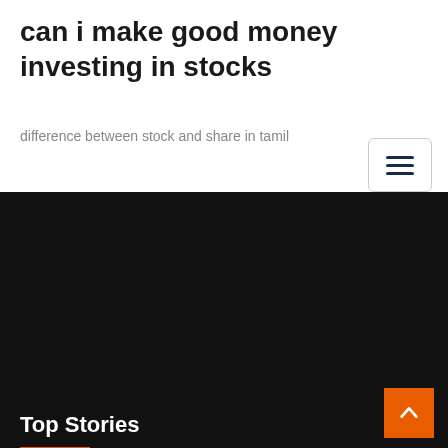can i make good money investing in stocks
difference between stock and share in tamil
Top Stories
Amrs stock chart
Starting online stock trading
Forex trading on mobile phone
Is canadian stock market open on labor day
Morningstar ultimate stock-pickers tr index